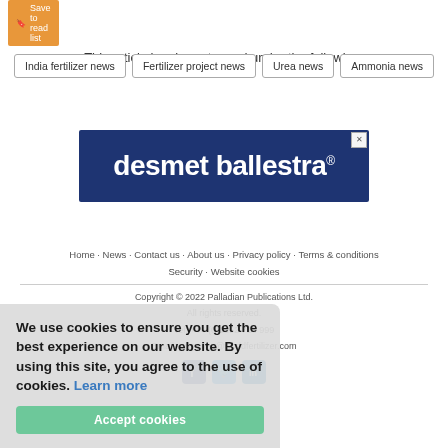Save to read list
This article has been tagged under the following:
India fertilizer news
Fertilizer project news
Urea news
Ammonia news
[Figure (logo): desmet ballestra advertisement banner - dark blue background with white bold text reading 'desmet ballestra' with a superscript trademark symbol]
Home  News  Contact us  About us  Privacy policy  Terms & conditions  Security  Website cookies
Copyright © 2022 Palladian Publications Ltd.
All rights reserved.
Tel: +44 (0)1252 718 999
Email: enquiries@worldfertilizer.com
We use cookies to ensure you get the best experience on our website. By using this site, you agree to the use of cookies. Learn more